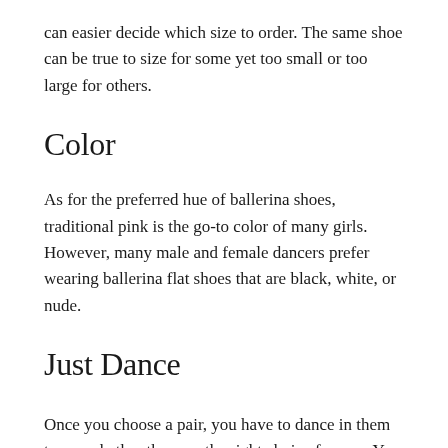can easier decide which size to order. The same shoe can be true to size for some yet too small or too large for others.
Color
As for the preferred hue of ballerina shoes, traditional pink is the go-to color of many girls. However, many male and female dancers prefer wearing ballerina flat shoes that are black, white, or nude.
Just Dance
Once you choose a pair, you have to dance in them to see whether they are the right choice for you. You should be able to comfortably rise to the balls of your feet and point your toes without any excessive pinching. The shoe should definitely fit right and not come off your foot. Keep in mind that you may find the perfect pair on your first try but sometimes it might take some trial and error. Wear your shoes only in the classroom to keep them in optimal condition for as long as possible. Wearing them outdoors or in other parts of the house may damage them. Be good to your ballet